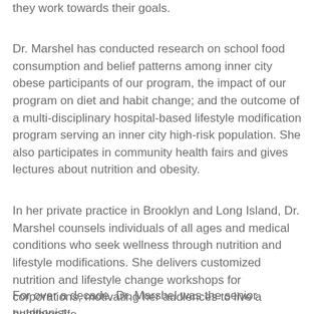they work towards their goals.
Dr. Marshel has conducted research on school food consumption and belief patterns among inner city obese participants of our program, the impact of our program on diet and habit change; and the outcome of a multi-disciplinary hospital-based lifestyle modification program serving an inner city high-risk population. She also participates in community health fairs and gives lectures about nutrition and obesity.
In her private practice in Brooklyn and Long Island, Dr. Marshel counsels individuals of all ages and medical conditions who seek wellness through nutrition and lifestyle modifications. She delivers customized nutrition and lifestyle change workshops for corporations, motivating her audiences to live a healthier life.
For over a decade, Dr. Marshel was the senior nutritionist